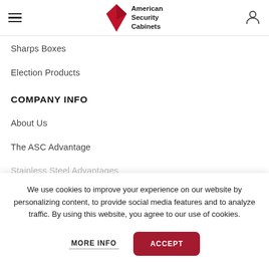American Security Cabinets
Sharps Boxes
Election Products
COMPANY INFO
About Us
The ASC Advantage
Stainless Steel Advantages
We use cookies to improve your experience on our website by personalizing content, to provide social media features and to analyze traffic. By using this website, you agree to our use of cookies.
MORE INFO
ACCEPT